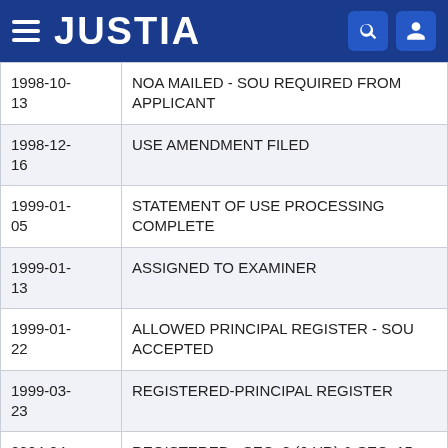JUSTIA
| Date | Event |
| --- | --- |
| 1998-10-13 | NOA MAILED - SOU REQUIRED FROM APPLICANT |
| 1998-12-16 | USE AMENDMENT FILED |
| 1999-01-05 | STATEMENT OF USE PROCESSING COMPLETE |
| 1999-01-13 | ASSIGNED TO EXAMINER |
| 1999-01-22 | ALLOWED PRINCIPAL REGISTER - SOU ACCEPTED |
| 1999-03-23 | REGISTERED-PRINCIPAL REGISTER |
| 2004-04-28 | REGISTERED - SEC. 8 (6-YR) & SEC. 15 FILED |